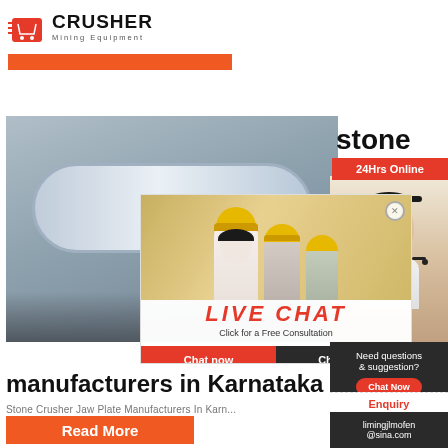[Figure (logo): Crusher Mining Equipment logo with red shopping bag icon and bold CRUSHER text]
[Figure (photo): Orange navigation bar strip below logo]
[Figure (photo): Industrial ball mill machine inside factory - large white cylindrical mill]
stone
[Figure (photo): Live Chat popup overlay with workers in hard hats, LIVE CHAT heading in red, Chat now and Chat later buttons]
[Figure (photo): 24Hrs Online badge in red, with woman wearing headset on right side]
manufacturers in Karnataka
Stone Crusher Jaw Plate Manufacturers In Karn
[Figure (photo): Need questions & suggestion sidebar with Chat Now button, Enquiry link, and limingjlmofen@sina.com email]
[Figure (other): Read More button in orange]